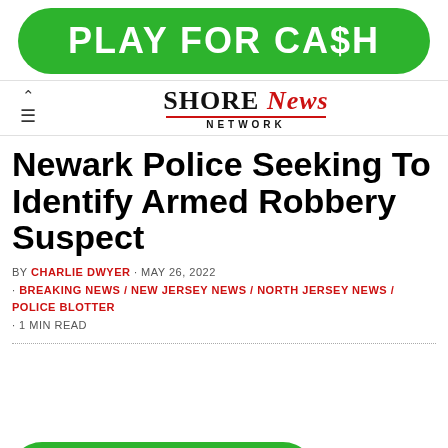[Figure (other): Green rounded banner advertisement reading PLAY FOR CA$H in white bold text]
[Figure (logo): Shore News Network logo with SHORE in black serif, News in red italic serif, underline, and NETWORK in black small caps below]
Newark Police Seeking To Identify Armed Robbery Suspect
BY CHARLIE DWYER · MAY 26, 2022 · BREAKING NEWS / NEW JERSEY NEWS / NORTH JERSEY NEWS / POLICE BLOTTER · 1 MIN READ
[Figure (other): Green rounded banner advertisement at bottom reading PLAY FOR CA$H in white bold text, partially visible]